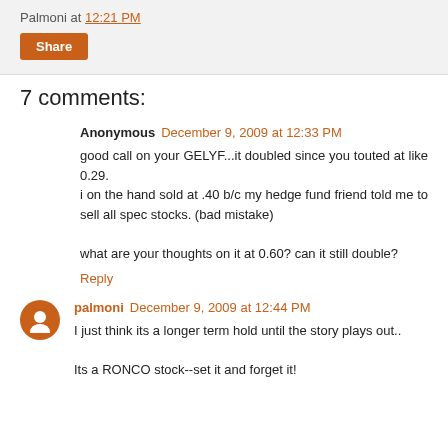Palmoni at 12:21 PM
Share
7 comments:
Anonymous December 9, 2009 at 12:33 PM
good call on your GELYF...it doubled since you touted at like 0.29.
i on the hand sold at .40 b/c my hedge fund friend told me to sell all spec stocks. (bad mistake)

what are your thoughts on it at 0.60? can it still double?
Reply
palmoni December 9, 2009 at 12:44 PM
I just think its a longer term hold until the story plays out..

Its a RONCO stock--set it and forget it!